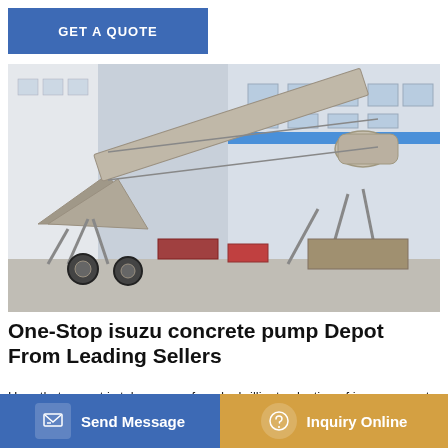GET A QUOTE
[Figure (photo): Industrial concrete batching plant / isuzu concrete pump machinery photographed outdoors in front of a factory building. Large steel-frame structure with conveyor belt and mixing drum visible.]
One-Stop isuzu concrete pump Depot From Leading Sellers
Here that aspect is taken care of, and a brilliant selection of isuzu concrete pump are featured. Just check out the variety of isuzu concrete pump are available at Alibaba.com
Send Message
Inquiry Online